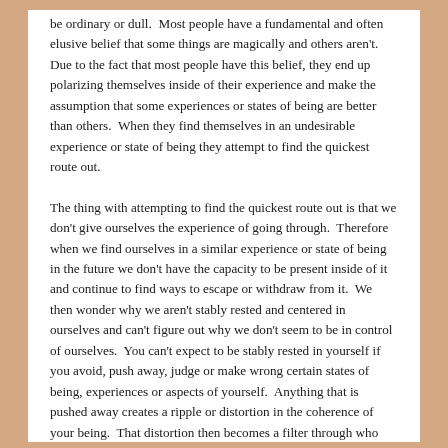be ordinary or dull.  Most people have a fundamental and often elusive belief that some things are magically and others aren't.  Due to the fact that most people have this belief, they end up polarizing themselves inside of their experience and make the assumption that some experiences or states of being are better than others.  When they find themselves in an undesirable experience or state of being they attempt to find the quickest route out.
The thing with attempting to find the quickest route out is that we don't give ourselves the experience of going through.  Therefore when we find ourselves in a similar experience or state of being in the future we don't have the capacity to be present inside of it and continue to find ways to escape or withdraw from it.  We then wonder why we aren't stably rested and centered in ourselves and can't figure out why we don't seem to be in control of ourselves.  You can't expect to be stably rested in yourself if you avoid, push away, judge or make wrong certain states of being, experiences or aspects of yourself.  Anything that is pushed away creates a ripple or distortion in the coherence of your being.  That distortion then becomes a filter through who...